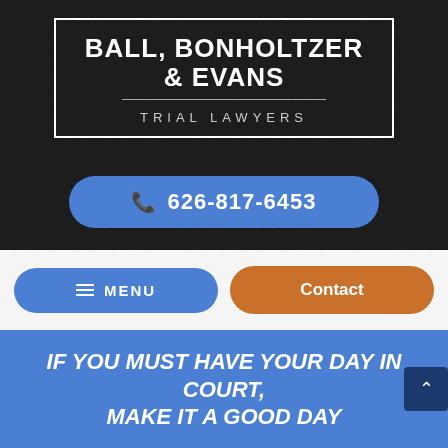[Figure (logo): Law firm logo: Ball, Bonholtzer & Evans Trial Lawyers in white text on dark background with border]
626-817-6453
≡ MENU
Contact
IF YOU MUST HAVE YOUR DAY IN COURT, MAKE IT A GOOD DAY
≡ VIEW OUR PRACTICE AREAS
Targeting the state of California for wrongful death